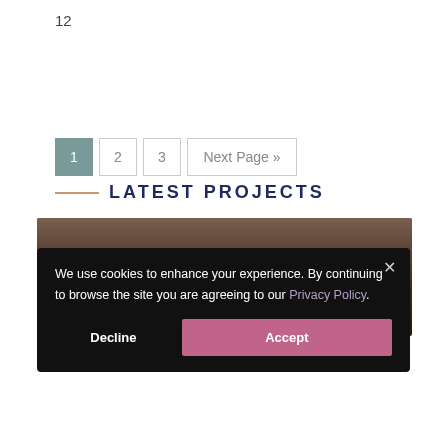12
1  2  3  Next Page »
LATEST PROJECTS
[Figure (photo): Crowd of people viewed from above, dark tones]
We use cookies to enhance your experience. By continuing to browse the site you are agreeing to our Privacy Policy.
Decline   Accept